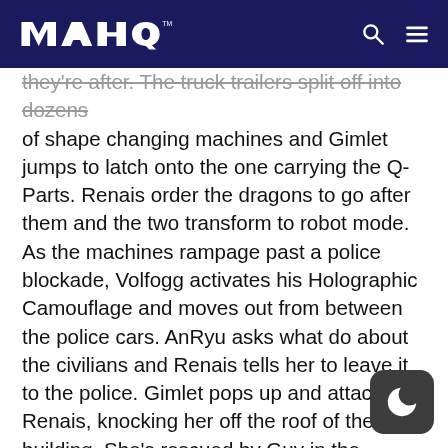MAHQ
they're after. The truck trailers split off into dozens of shape changing machines and Gimlet jumps to latch onto the one carrying the Q-Parts. Renais order the dragons to go after them and the two transform to robot mode. As the machines rampage past a police blockade, Volfogg activates his Holographic Camouflage and moves out from between the police cars. AnRyu asks what do about the civilians and Renais tells her to leave it to the police. Gimlet pops up and attacks Renais, knocking her off the roof of the building. She's rescued by Guy in the PhantomGao jet, and Gimlet angrily tells Guy that he still owes him for what happened in Hong Kong. Guy tells Gimlet that 3G will put a to BioNet and the latter tries to attack, but ge knocked back by Volfogg's Silver Moon blades.